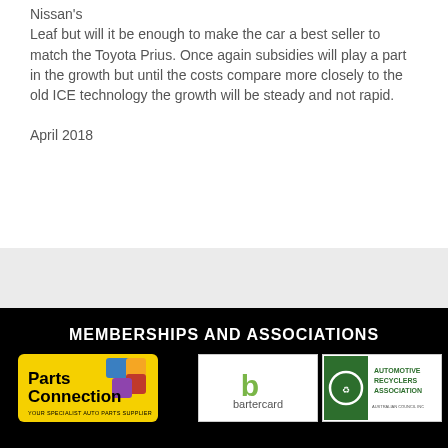Nissan's
Leaf but will it be enough to make the car a best seller to match the Toyota Prius. Once again subsidies will play a part in the growth but until the costs compare more closely to the old ICE technology the growth will be steady and not rapid.
April 2018
MEMBERSHIPS AND ASSOCIATIONS
[Figure (logo): Parts Connection logo - yellow puzzle piece background with 'Parts Connection' text and tagline 'YOUR SPECIALIST AUTO PARTS SUPPLIER']
[Figure (logo): Bartercard logo - white box with green 'b' symbol and 'bartercard' text]
[Figure (logo): Automotive Recyclers Association logo - green box with recycling imagery and text 'AUTOMOTIVE RECYCLERS ASSOCIATION']